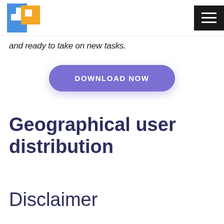[Logo] [Hamburger menu]
and ready to take on new tasks.
[Figure (other): Download Now button — purple pill-shaped button with white uppercase text 'DOWNLOAD NOW']
Geographical user distribution
Disclaimer